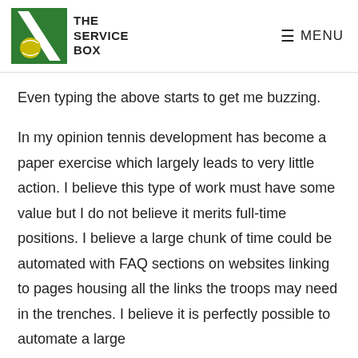THE SERVICE BOX | MENU
Even typing the above starts to get me buzzing.
In my opinion tennis development has become a paper exercise which largely leads to very little action. I believe this type of work must have some value but I do not believe it merits full-time positions. I believe a large chunk of time could be automated with FAQ sections on websites linking to pages housing all the links the troops may need in the trenches. I believe it is perfectly possible to automate a large…